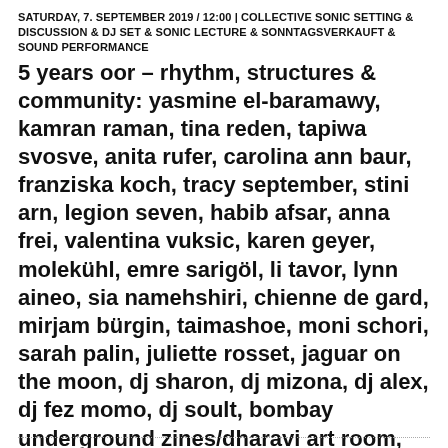SATURDAY, 7. SEPTEMBER 2019 / 12:00 | COLLECTIVE SONIC SETTING & DISCUSSION & DJ SET & SONIC LECTURE & SONNTAGSVERKAUFT & SOUND PERFORMANCE
5 years oor – rhythm, structures & community: yasmine el-baramawy, kamran raman, tina reden, tapiwa svosve, anita rufer, carolina ann baur, franziska koch, tracy september, stini arn, legion seven, habib afsar, anna frei, valentina vuksic, karen geyer, molekühl, emre sarigöl, li tavor, lynn aineo, sia namehshiri, chienne de gard, mirjam bürgin, taimashoe, moni schori, sarah palin, juliette rosset, jaguar on the moon, dj sharon, dj mizona, dj alex, dj fez momo, dj soult, bombay underground zines/dharavi art room, johannes ismael wendt, ark – arkestrated rhythmmachine komplexities